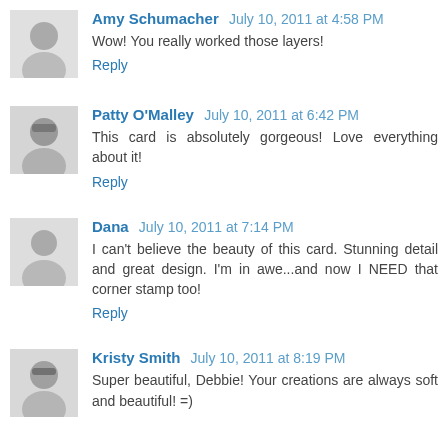[Figure (photo): Avatar photo of Amy Schumacher, black and white portrait]
Amy Schumacher July 10, 2011 at 4:58 PM
Wow! You really worked those layers!
Reply
[Figure (photo): Avatar photo of Patty O'Malley, black and white portrait with glasses]
Patty O'Malley July 10, 2011 at 6:42 PM
This card is absolutely gorgeous! Love everything about it!
Reply
[Figure (photo): Avatar photo of Dana, black and white portrait]
Dana July 10, 2011 at 7:14 PM
I can't believe the beauty of this card. Stunning detail and great design. I'm in awe...and now I NEED that corner stamp too!
Reply
[Figure (photo): Avatar photo of Kristy Smith, black and white portrait with glasses]
Kristy Smith July 10, 2011 at 8:19 PM
Super beautiful, Debbie! Your creations are always soft and beautiful! =)